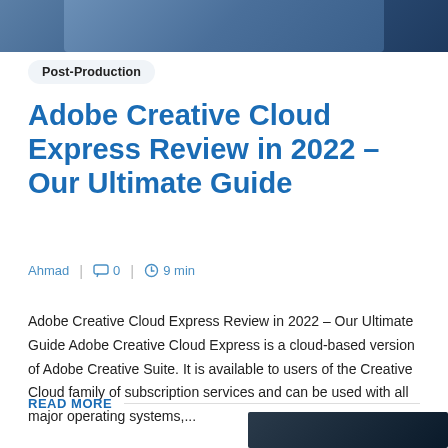[Figure (photo): Partial image at top of page, dark blue/teal toned photo]
Post-Production
Adobe Creative Cloud Express Review in 2022 – Our Ultimate Guide
Ahmad  |  0  |  9 min
Adobe Creative Cloud Express Review in 2022 – Our Ultimate Guide Adobe Creative Cloud Express is a cloud-based version of Adobe Creative Suite. It is available to users of the Creative Cloud family of subscription services and can be used with all major operating systems,...
READ MORE
[Figure (photo): Partial image at bottom-right of page]